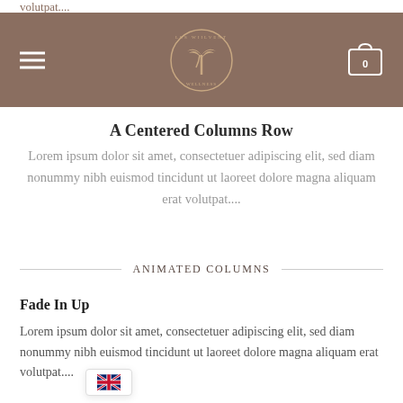volutpat....
[Figure (logo): Website header bar with hamburger menu on left, circular palm tree logo in center, and shopping cart icon with '0' on right, on a mauve/brown background]
A Centered Columns Row
Lorem ipsum dolor sit amet, consectetuer adipiscing elit, sed diam nonummy nibh euismod tincidunt ut laoreet dolore magna aliquam erat volutpat....
ANIMATED COLUMNS
Fade In Up
Lorem ipsum dolor sit amet, consectetuer adipiscing elit, sed diam nonummy nibh euismod tincidunt ut laoreet dolore magna aliquam erat volutpat....